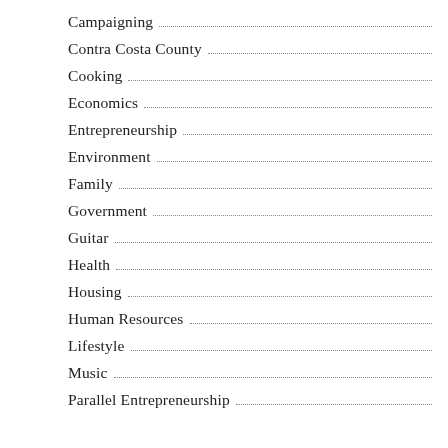Campaigning
Contra Costa County
Cooking
Economics
Entrepreneurship
Environment
Family
Government
Guitar
Health
Housing
Human Resources
Lifestyle
Music
Parallel Entrepreneurship